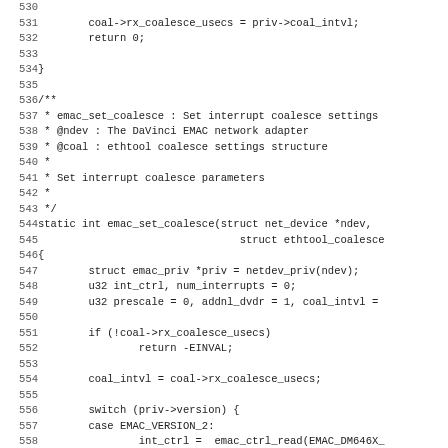[Figure (other): Source code listing in C, lines 530-562, showing emac_set_coalesce function implementation with line numbers on the left.]